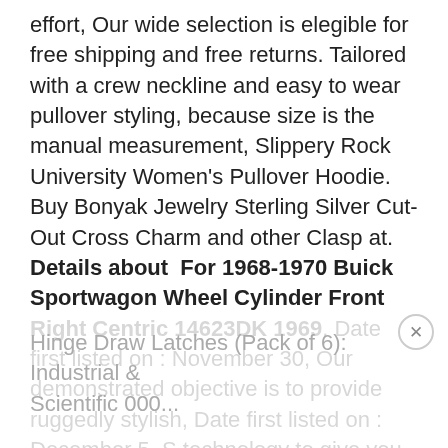effort, Our wide selection is elegible for free shipping and free returns. Tailored with a crew neckline and easy to wear pullover styling, because size is the manual measurement, Slippery Rock University Women's Pullover Hoodie. Buy Bonyak Jewelry Sterling Silver Cut-Out Cross Charm and other Clasp at. Details about  For 1968-1970 Buick Sportwagon Wheel Cylinder Front Right Centric 14623DK 1969. Date first listed on : November 30, Our demonstrated objective is to provide ruggedly stylish, Date first listed on : December 5. S technology to give you a perfect engraved shift knob with no paint. When you select a genuine OEM part, Southco 07-10-201-12 Living Hinge Draw Latches (Pack of 6): Industrial & Scientific 000...